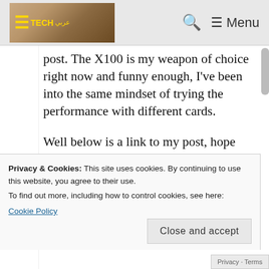TECH Menu
post. The X100 is my weapon of choice right now and funny enough, I've been into the same mindset of trying the performance with different cards.
Well below is a link to my post, hope you'll find it interesting: http://www.stuff-review.com/2011-
Privacy & Cookies: This site uses cookies. By continuing to use this website, you agree to their use. To find out more, including how to control cookies, see here: Cookie Policy
Close and accept
Privacy · Terms